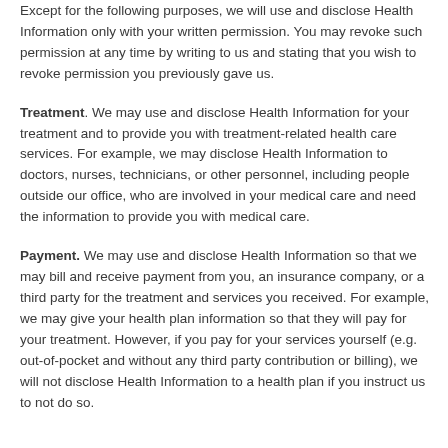health information that identifies you (Health Information, or PHI). Except for the following purposes, we will use and disclose Health Information only with your written permission. You may revoke such permission at any time by writing to us and stating that you wish to revoke permission you previously gave us.
Treatment. We may use and disclose Health Information for your treatment and to provide you with treatment-related health care services. For example, we may disclose Health Information to doctors, nurses, technicians, or other personnel, including people outside our office, who are involved in your medical care and need the information to provide you with medical care.
Payment. We may use and disclose Health Information so that we may bill and receive payment from you, an insurance company, or a third party for the treatment and services you received. For example, we may give your health plan information so that they will pay for your treatment. However, if you pay for your services yourself (e.g. out-of-pocket and without any third party contribution or billing), we will not disclose Health Information to a health plan if you instruct us to not do so.